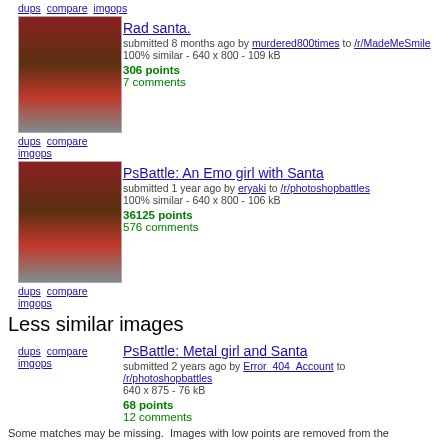dups compare imgops
[Figure (photo): Thumbnail of Rad santa photo - emo girl with Santa Claus in christmas chair]
Rad santa.
submitted 8 months ago by murdered800times to /r/MadeMeSmile
100% similar - 640 x 800 - 109 kB
306 points
7 comments
dups compare imgops
[Figure (photo): Thumbnail of PsBattle: An Emo girl with Santa photo]
PsBattle: An Emo girl with Santa
submitted 1 year ago by eryaki to /r/photoshopbattles
100% similar - 640 x 800 - 106 kB
36125 points
576 comments
dups compare imgops
Less similar images
PsBattle: Metal girl and Santa
submitted 2 years ago by Error_404_Account to /r/photoshopbattles
640 x 875 - 76 kB
68 points
12 comments
dups compare imgops
Some matches may be missing.  Images with low points are removed from the